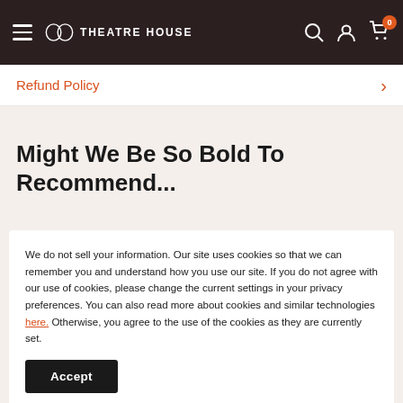Theatre House — navigation bar with hamburger menu, logo, search, account, cart (0)
Refund Policy
Might We Be So Bold To Recommend...
We do not sell your information. Our site uses cookies so that we can remember you and understand how you use our site. If you do not agree with our use of cookies, please change the current settings in your privacy preferences. You can also read more about cookies and similar technologies here. Otherwise, you agree to the use of the cookies as they are currently set.
Accept